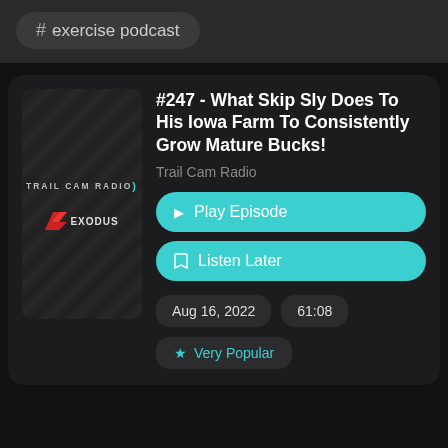# exercise podcast
#247 - What Skip Sly Does To His Iowa Farm To Consistently Grow Mature Bucks!
Trail Cam Radio
Play Episode
Listen Later
Aug 16, 2022
61:08
Very Popular